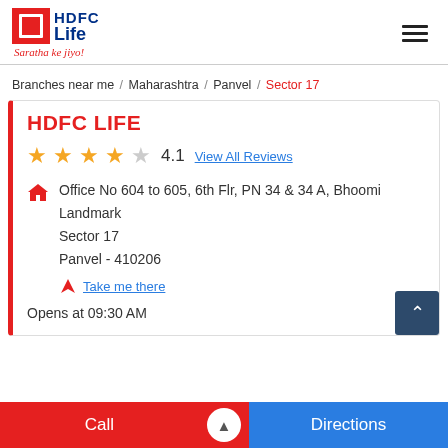[Figure (logo): HDFC Life logo with red square icon and blue text, tagline 'Saratha ke jiyo!']
Branches near me / Maharashtra / Panvel / Sector 17
HDFC LIFE
4.1  View All Reviews
Office No 604 to 605, 6th Flr, PN 34 & 34 A, Bhoomi Landmark
Sector 17
Panvel - 410206
Take me there
Opens at 09:30 AM
Call
Directions